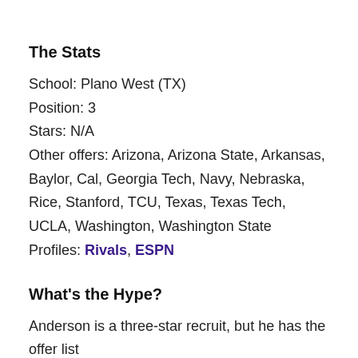The Stats
School: Plano West (TX)
Position: 3
Stars: N/A
Other offers: Arizona, Arizona State, Arkansas, Baylor, Cal, Georgia Tech, Navy, Nebraska, Rice, Stanford, TCU, Texas, Texas Tech, UCLA, Washington, Washington State
Profiles: Rivals, ESPN
What's the Hype?
Anderson is a three-star recruit, but he has the offer list